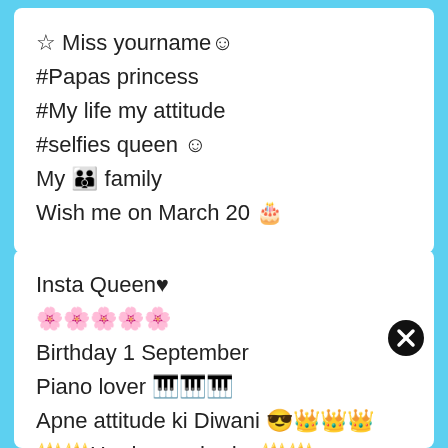☆ Miss yourname☺
#Papas princess
#My life my attitude
#selfies queen ☺
My 👨‍👩‍👧‍👦 family
Wish me on March 20 🎂
Insta Queen♥
🌸🌸🌸🌸🌸
Birthday 1 September
Piano lover 🎹🎹🎹
Apne attitude ki Diwani 😎👑👑👑
🔱🔱Har har mahadev🔱🔱
🎂Wish me on 25 December 🎂